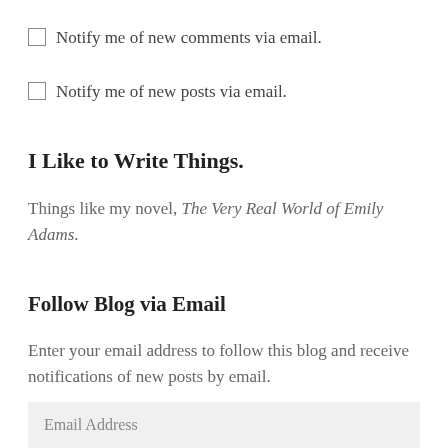Notify me of new comments via email.
Notify me of new posts via email.
I Like to Write Things.
Things like my novel, The Very Real World of Emily Adams.
Follow Blog via Email
Enter your email address to follow this blog and receive notifications of new posts by email.
Email Address